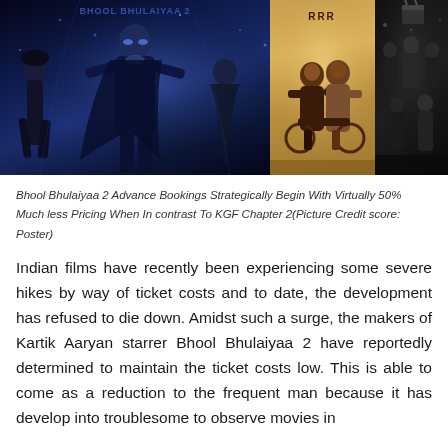[Figure (photo): Movie promotional banner showing three film posters side by side: Bhool Bhulaiyaa 2 (blue-toned action poster with characters), RRR (warm-toned poster with two main actors on motorcycle), and a third film with ensemble cast in dark tones.]
Bhool Bhulaiyaa 2 Advance Bookings Strategically Begin With Virtually 50% Much less Pricing When In contrast To KGF Chapter 2(Picture Credit score: Poster)
Indian films have recently been experiencing some severe hikes by way of ticket costs and to date, the development has refused to die down. Amidst such a surge, the makers of Kartik Aaryan starrer Bhool Bhulaiyaa 2 have reportedly determined to maintain the ticket costs low. This is able to come as a reduction to the frequent man because it has develop into troublesome to observe movies in